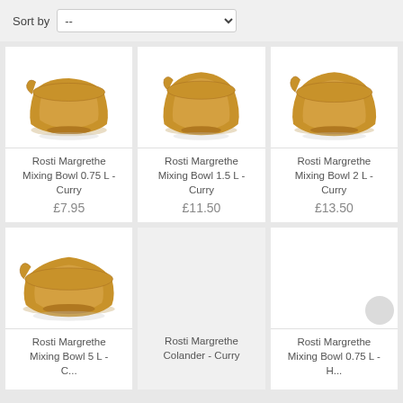Sort by  --
[Figure (photo): Rosti Margrethe Mixing Bowl 0.75 L - Curry colored bowl, mustard yellow]
Rosti Margrethe Mixing Bowl 0.75 L - Curry
£7.95
[Figure (photo): Rosti Margrethe Mixing Bowl 1.5 L - Curry colored bowl, mustard yellow, taller]
Rosti Margrethe Mixing Bowl 1.5 L - Curry
£11.50
[Figure (photo): Rosti Margrethe Mixing Bowl 2 L - Curry colored bowl, mustard yellow, wide]
Rosti Margrethe Mixing Bowl 2 L - Curry
£13.50
[Figure (photo): Rosti Margrethe Mixing Bowl 5 L - Curry colored bowl, mustard yellow, very wide and shallow]
Rosti Margrethe Mixing Bowl 5 L - C...
Rosti Margrethe Colander - Curry
Rosti Margrethe Mixing Bowl 0.75 L - H...